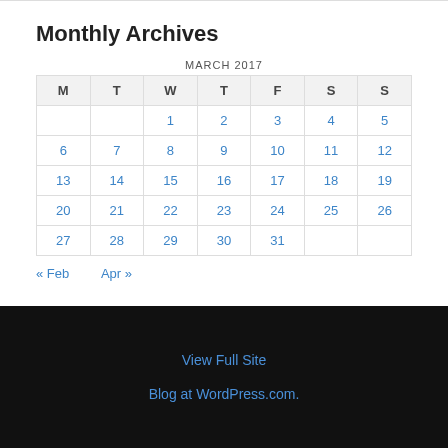Monthly Archives
| M | T | W | T | F | S | S |
| --- | --- | --- | --- | --- | --- | --- |
|  |  | 1 | 2 | 3 | 4 | 5 |
| 6 | 7 | 8 | 9 | 10 | 11 | 12 |
| 13 | 14 | 15 | 16 | 17 | 18 | 19 |
| 20 | 21 | 22 | 23 | 24 | 25 | 26 |
| 27 | 28 | 29 | 30 | 31 |  |  |
« Feb
Apr »
View Full Site
Blog at WordPress.com.